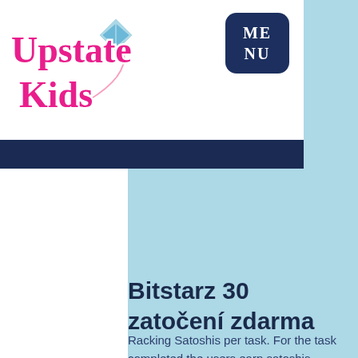[Figure (logo): Upstate Kids logo in pink bubbly font with a kite decoration]
ME
NU
Bitstarz 30 zatočení zdarma
Racking Satoshis per task. For the task completed the users earn satoshis every